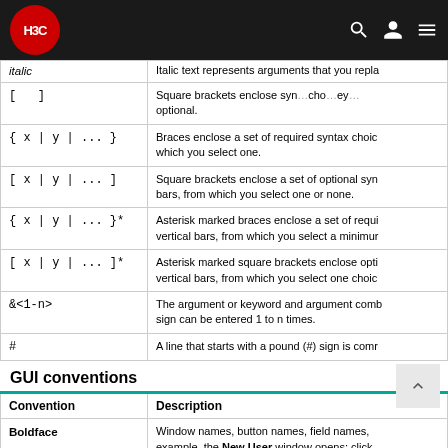H3C navigation bar
| Convention | Description |
| --- | --- |
| italic | Italic text represents arguments that you replace with actual values. |
| [ ] | Square brackets enclose syntax choices (keywords or arguments) that are optional. |
| { x | y | ... } | Braces enclose a set of required syntax choices separated by vertical bars, from which you select one. |
| [ x | y | ... ] | Square brackets enclose a set of optional syntax choices separated by vertical bars, from which you select one or none. |
| { x | y | ... }* | Asterisk marked braces enclose a set of required syntax choices separated by vertical bars, from which you select a minimum of one. |
| [ x | y | ... ]* | Asterisk marked square brackets enclose optional syntax choices separated by vertical bars, from which you select one choice or none. |
| &<1-n> | The argument or keyword and argument combination before the ampersand sign can be entered 1 to n times. |
| # | A line that starts with a pound (#) sign is comment text. |
GUI conventions
| Convention | Description |
| --- | --- |
| Boldface | Window names, button names, field names, and menu items are in Boldface. For example, the New User window opens; click OK. |
| > | Multi-level menus are separated by angle brackets. For example, File > Create > Folder. |
Symbols